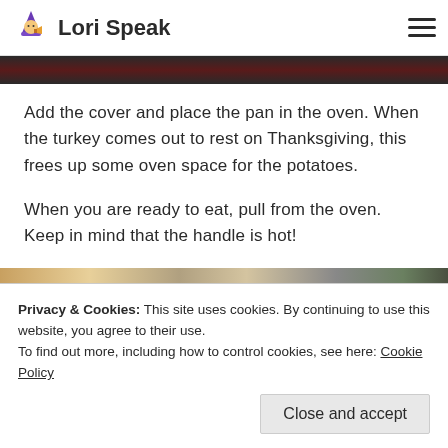Lori Speak
[Figure (photo): Dark red/black top image strip, partial food photo cropped at top]
Add the cover and place the pan in the oven. When the turkey comes out to rest on Thanksgiving, this frees up some oven space for the potatoes.
When you are ready to eat, pull from the oven. Keep in mind that the handle is hot!
[Figure (photo): Close-up photo of a Thanksgiving plate with turkey, rice, and broccoli]
Privacy & Cookies: This site uses cookies. By continuing to use this website, you agree to their use.
To find out more, including how to control cookies, see here: Cookie Policy